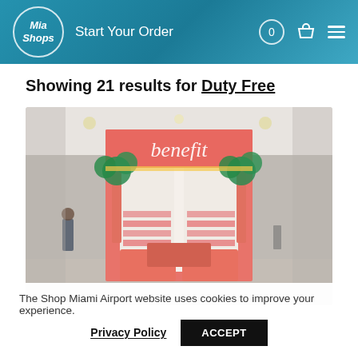Mia Shops – Start Your Order
Showing 21 results for Duty Free
[Figure (photo): Photo of a Benefit cosmetics duty-free kiosk at Miami Airport. The bright pink branded booth with palm tree graphics is in a large airport terminal.]
The Shop Miami Airport website uses cookies to improve your experience.
Privacy Policy   ACCEPT